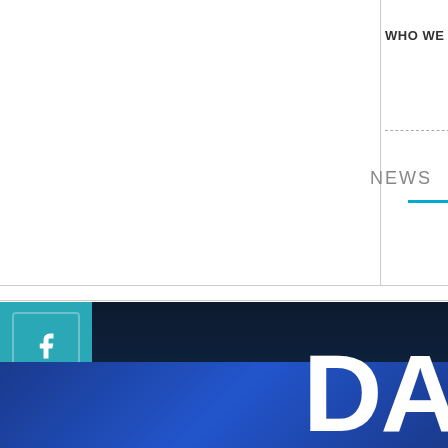WHO WE ARE    DONATE NO
NEWS
← BACK TO
[Figure (screenshot): Social media sidebar with Facebook, Twitter, and YouTube icons in teal/cyan colored boxes stacked vertically]
[Figure (screenshot): Large blue gradient background area with large white text 'DA' visible at bottom right corner]